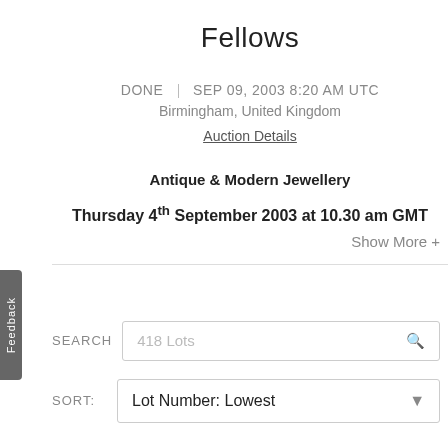Fellows
DONE | SEP 09, 2003 8:20 AM UTC
Birmingham, United Kingdom
Auction Details
Antique & Modern Jewellery
Thursday 4th September 2003 at 10.30 am GMT
Show More +
SEARCH  418 Lots
SORT:  Lot Number: Lowest